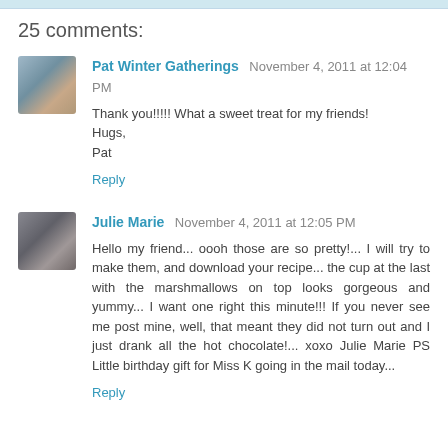25 comments:
Pat Winter Gatherings November 4, 2011 at 12:04 PM
Thank you!!!!! What a sweet treat for my friends!
Hugs,
Pat
Reply
Julie Marie November 4, 2011 at 12:05 PM
Hello my friend... oooh those are so pretty!... I will try to make them, and download your recipe... the cup at the last with the marshmallows on top looks gorgeous and yummy... I want one right this minute!!! If you never see me post mine, well, that meant they did not turn out and I just drank all the hot chocolate!... xoxo Julie Marie PS Little birthday gift for Miss K going in the mail today...
Reply